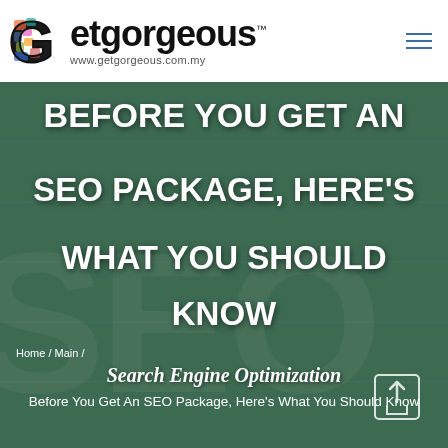Getgorgeous™ www.getgorgeous.com.my
[Figure (screenshot): Chalkboard background with large white bold text overlay: BEFORE YOU GET AN SEO PACKAGE, HERE'S WHAT YOU SHOULD KNOW. Large faint 'SEO' letters in the background. Breadcrumb: Home / Main /. Script text: Search Engine Optimization. Article title: Before You Get An SEO Package, Here's What You Should Know]
BEFORE YOU GET AN SEO PACKAGE, HERE'S WHAT YOU SHOULD KNOW
Home / Main /
Search Engine Optimization
Before You Get An SEO Package, Here's What You Should Know